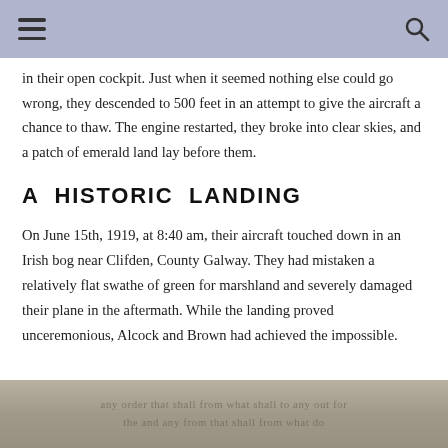in their open cockpit. Just when it seemed nothing else could go wrong, they descended to 500 feet in an attempt to give the aircraft a chance to thaw. The engine restarted, they broke into clear skies, and a patch of emerald land lay before them.
A HISTORIC LANDING
On June 15th, 1919, at 8:40 am, their aircraft touched down in an Irish bog near Clifden, County Galway. They had mistaken a relatively flat swathe of green for marshland and severely damaged their plane in the aftermath. While the landing proved unceremonious, Alcock and Brown had achieved the impossible.
[Figure (photo): Partial view of a historical photograph, showing faint text or image content, appearing at the bottom of the page]